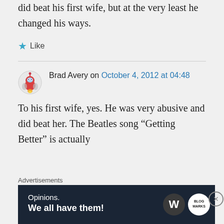did beat his first wife, but at the very least he changed his ways.
Like
Brad Avery on October 4, 2012 at 04:48
To his first wife, yes. He was very abusive and did beat her. The Beatles song “Getting Better” is actually
Advertisements
[Figure (screenshot): WordPress Opinions advertisement banner reading 'Opinions. We all have them!' with WordPress and another logo]